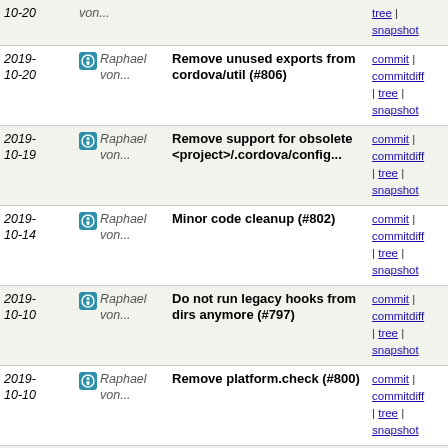2019-10-20 | Raphael von... | Remove unused exports from cordova/util (#806) | commit | commitdiff | tree | snapshot
2019-10-19 | Raphael von... | Remove support for obsolete <project>/.cordova/config... | commit | commitdiff | tree | snapshot
2019-10-14 | Raphael von... | Minor code cleanup (#802) | commit | commitdiff | tree | snapshot
2019-10-10 | Raphael von... | Do not run legacy hooks from dirs anymore (#797) | commit | commitdiff | tree | snapshot
2019-10-10 | Raphael von... | Remove platform.check (#800) | commit | commitdiff | tree | snapshot
2019-10-10 | Raphael von... | Remove code to handle plugins that were added by cordov... | commit | commitdiff | tree | snapshot
2019-10-10 | Raphael von... | Remove parts of plugman that have been moved to the... | commit | commitdiff | tree | snapshot
2019-10-10 | Raphael von... | Replace underscore with modern JS (#772) | commit | commitdiff | tree | snapshot
2019-10-10 | Raphael von... | chore: drop node 6 and 8 support (#799) | commit | commitdiff | tree | snapshot
2019-10-10 | Raphael von... | chore: bump version to 10.0.0-dev (#798) | commit | commitdiff | tree | snapshot